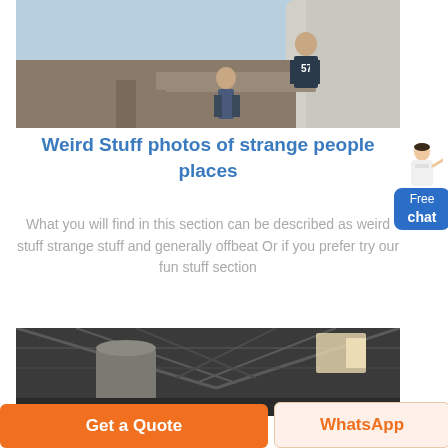[Figure (photo): Two workers on an industrial structure, one wearing a shirt with number 57, near large cylindrical equipment outdoors]
Weird Stuff photos of strange people places
What you will find in this section can be described as weird stuff strange stuff and generally offbeat Or if you prefer try our fun stuff section
[Figure (photo): Interior of a large industrial warehouse or hangar with metal roof trusses and bright windows]
[Figure (other): Free chat widget with female avatar]
Get a Quote
WhatsApp